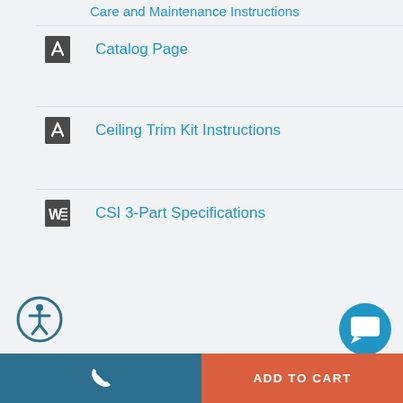Care and Maintenance Instructions
Catalog Page
Ceiling Trim Kit Instructions
CSI 3-Part Specifications
[Figure (other): Accessibility icon button (circular outline with person figure)]
[Figure (other): Chat support button (blue circle with speech bubble icon)]
[Figure (other): Call button (teal/dark blue rectangle with phone icon)]
ADD TO CART